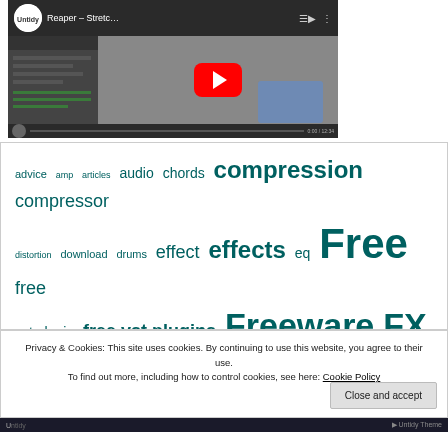[Figure (screenshot): YouTube video thumbnail for 'Reaper - Stretc...' from Untidy channel, showing a dark video editing interface with a red YouTube play button and a blue dialog overlay]
advice amp articles audio chords compression compressor distortion download drums effect effects eq Free free vst plugin free vst plugins Freeware FX guitar instrument lessons Mastering Midi Mixing mp3 Music music quotes Music Quotes open chords plugin
Privacy & Cookies: This site uses cookies. By continuing to use this website, you agree to their use.
To find out more, including how to control cookies, see here: Cookie Policy
Close and accept